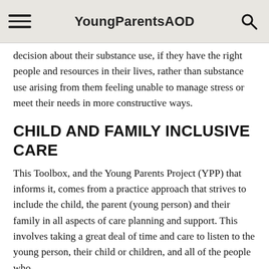YoungParentsAOD
decision about their substance use, if they have the right people and resources in their lives, rather than substance use arising from them feeling unable to manage stress or meet their needs in more constructive ways.
CHILD AND FAMILY INCLUSIVE CARE
This Toolbox, and the Young Parents Project (YPP) that informs it, comes from a practice approach that strives to include the child, the parent (young person) and their family in all aspects of care planning and support. This involves taking a great deal of time and care to listen to the young person, their child or children, and all of the people who